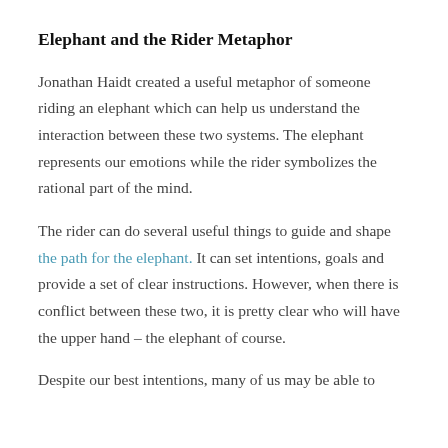Elephant and the Rider Metaphor
Jonathan Haidt created a useful metaphor of someone riding an elephant which can help us understand the interaction between these two systems. The elephant represents our emotions while the rider symbolizes the rational part of the mind.
The rider can do several useful things to guide and shape the path for the elephant. It can set intentions, goals and provide a set of clear instructions. However, when there is conflict between these two, it is pretty clear who will have the upper hand – the elephant of course.
Despite our best intentions, many of us may be able to